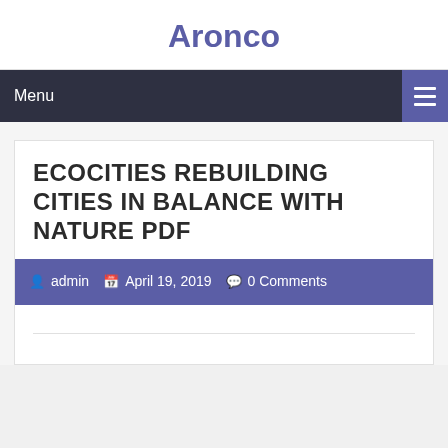Aronco
Menu
ECOCITIES REBUILDING CITIES IN BALANCE WITH NATURE PDF
admin  April 19, 2019  0 Comments